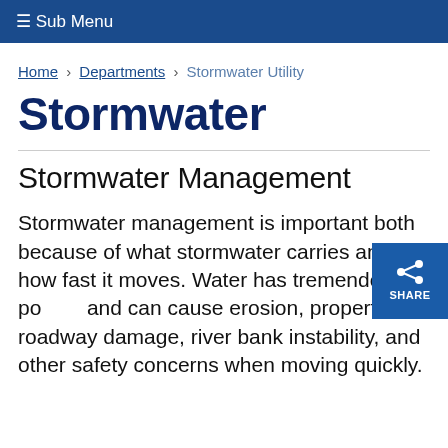☰ Sub Menu
Home › Departments › Stormwater Utility
Stormwater
Stormwater Management
Stormwater management is important both because of what stormwater carries and how fast it moves. Water has tremendous power and can cause erosion, property and roadway damage, river bank instability, and other safety concerns when moving quickly.